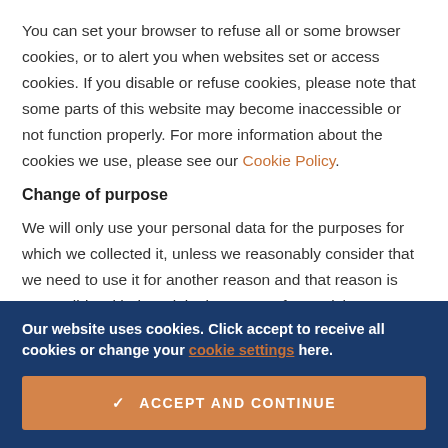You can set your browser to refuse all or some browser cookies, or to alert you when websites set or access cookies. If you disable or refuse cookies, please note that some parts of this website may become inaccessible or not function properly. For more information about the cookies we use, please see our Cookie Policy.
Change of purpose
We will only use your personal data for the purposes for which we collected it, unless we reasonably consider that we need to use it for another reason and that reason is compatible with the original purpose. If you wish to get an explanation as to how the processing for the new purpose is compatible with the original purpose, please
Our website uses cookies. Click accept to receive all cookies or change your cookie settings here.
ACCEPT AND CONTINUE